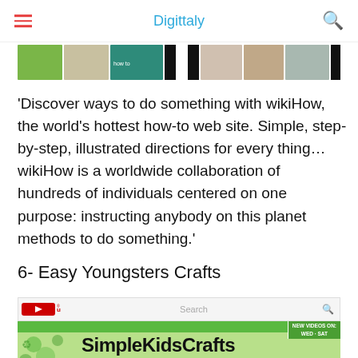Digittaly
[Figure (screenshot): Thumbnail image strip showing various small photos in a horizontal row]
'Discover ways to do something with wikiHow, the world's hottest how-to web site. Simple, step-by-step, illustrated directions for every thing…wikiHow is a worldwide collaboration of hundreds of individuals centered on one purpose: instructing anybody on this planet methods to do something.'
6- Easy Youngsters Crafts
[Figure (screenshot): YouTube channel page for SimpleKidsCrafts with green header bar showing NEW VIDEOS ON: WED - SAT badge and the channel name in bold black text on a green background with recycling pattern]